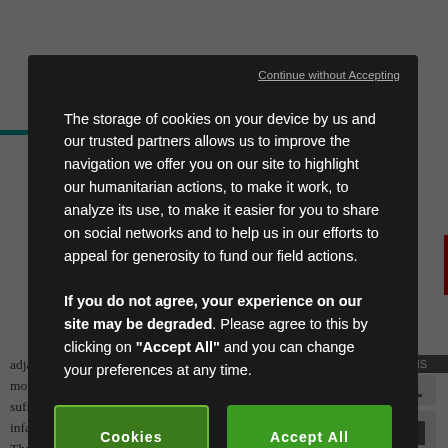Continue without Accepting
The storage of cookies on your device by us and our trusted partners allows us to improve the navigation we offer you on our site to highlight our humanitarian actions, to make it work, to analyze its use, to make it easier for you to share on social networks and to help us in our efforts to appeal for generosity to fund our field actions.
If you do not agree, your experience on our site may be degraded. Please agree to this by clicking on "Accept All" and you can change your preferences at any time.
Cookies Settings
Accept All Cookies
adjacent rural communities – where levels of infant mortality were much lower – conditions were sufficiently favourable to allow a continuous decline in infant mortality from at least the 1860s, if not before. The final